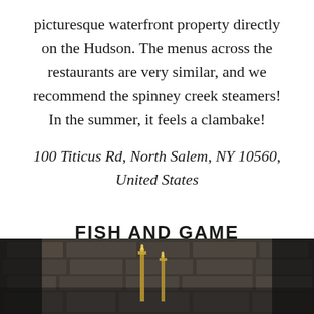picturesque waterfront property directly on the Hudson. The menus across the restaurants are very similar, and we recommend the spinney creek steamers! In the summer, it feels a clambake!
100 Titicus Rd, North Salem, NY 10560, United States
FISH AND GAME
[Figure (photo): Interior restaurant photo showing a stone/brick wall with gold/brass candle holders in the foreground, dark atmospheric lighting]